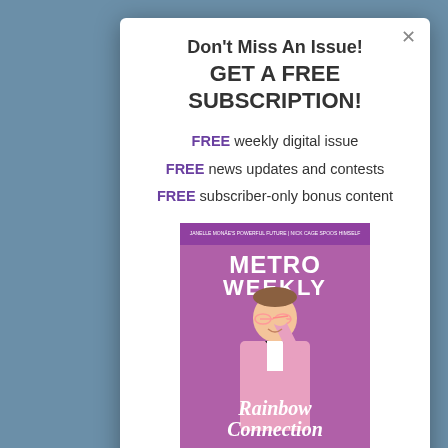Don't Miss An Issue!
GET A FREE SUBSCRIPTION!
FREE weekly digital issue
FREE news updates and contests
FREE subscriber-only bonus content
[Figure (photo): Metro Weekly magazine cover featuring a man in a pink sparkly tuxedo holding pink glasses, with text 'Rainbow Connection' and 'MetroWeekly' masthead]
Enter your first name here...
Enter your email here...